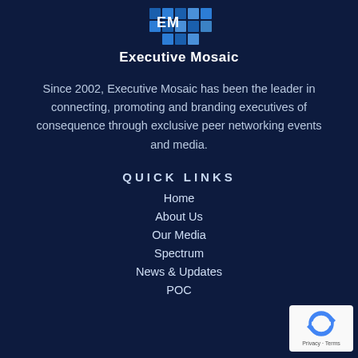[Figure (logo): Executive Mosaic logo — blue mosaic grid icon above the text 'Executive Mosaic']
Since 2002, Executive Mosaic has been the leader in connecting, promoting and branding executives of consequence through exclusive peer networking events and media.
QUICK LINKS
Home
About Us
Our Media
Spectrum
News & Updates
POC
[Figure (logo): reCAPTCHA badge with circular arrow icon and Privacy - Terms text]